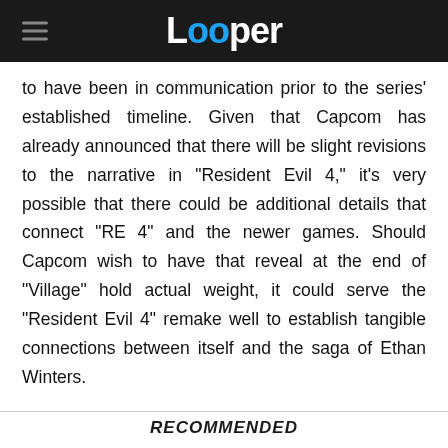Looper
to have been in communication prior to the series' established timeline. Given that Capcom has already announced that there will be slight revisions to the narrative in "Resident Evil 4," it's very possible that there could be additional details that connect "RE 4" and the newer games. Should Capcom wish to have that reveal at the end of "Village" hold actual weight, it could serve the "Resident Evil 4" remake well to establish tangible connections between itself and the saga of Ethan Winters.
RECOMMENDED